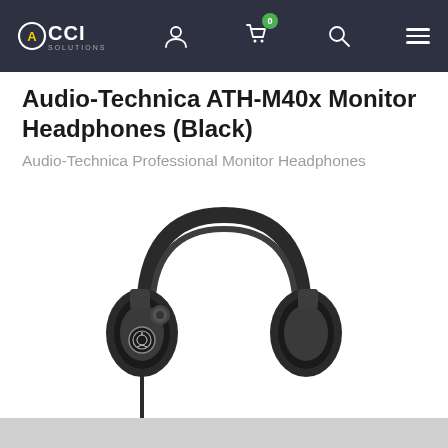CCI Solutions navigation bar with logo, user icon, cart icon (0 items), search icon, and menu
Audio-Technica ATH-M40x Monitor Headphones (Black)
Audio-Technica Professional Monitor Headphones
[Figure (photo): Black Audio-Technica ATH-M40x professional monitor headphones on white background]